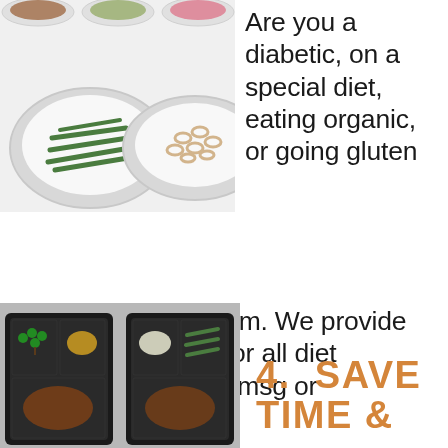[Figure (photo): Multiple white plates with various food items including green beans, macaroni, and other dishes arranged on a white surface]
Are you a diabetic, on a special diet, eating organic, or going gluten friendly? No problem. We provide truly clean eating for all diet requirements – no msg or preservatives.
[Figure (photo): Two black meal prep containers with compartments filled with various foods including broccoli, meat, grains and vegetables]
4.  SAVE TIME &